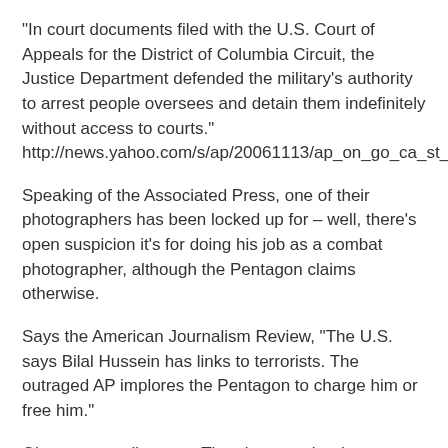“In court documents filed with the U.S. Court of Appeals for the District of Columbia Circuit, the Justice Department defended the military’s authority to arrest people oversees and detain them indefinitely without access to courts.” http://news.yahoo.com/s/ap/20061113/ap_on_go_ca_st_pe/detainees_lawsuits
Speaking of the Associated Press, one of their photographers has been locked up for – well, there’s open suspicion it’s for doing his job as a combat photographer, although the Pentagon claims otherwise.
Says the American Journalism Review, “The U.S. says Bilal Hussein has links to terrorists. The outraged AP implores the Pentagon to charge him or free him.”
Oh yes, a small matter: The photographer is a Pulitzer Prize winner.
http://www.ajr.org/Article.asp?id=4227
The military had three secret meetings about the